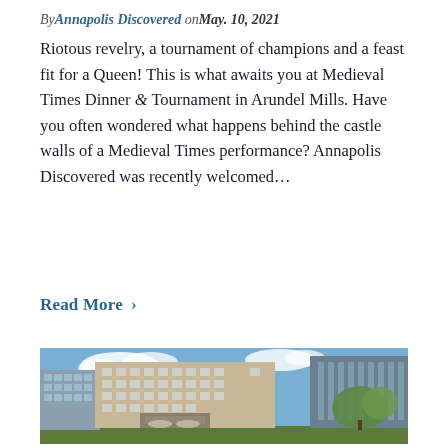By Annapolis Discovered on May. 10, 2021
Riotous revelry, a tournament of champions and a feast fit for a Queen! This is what awaits you at Medieval Times Dinner & Tournament in Arundel Mills. Have you often wondered what happens behind the castle walls of a Medieval Times performance? Annapolis Discovered was recently welcomed…
Read More ›
[Figure (photo): Exterior photo of a large multi-story hotel building with beige/tan facade, glass windows, trees in foreground, and blue sky with clouds in background.]